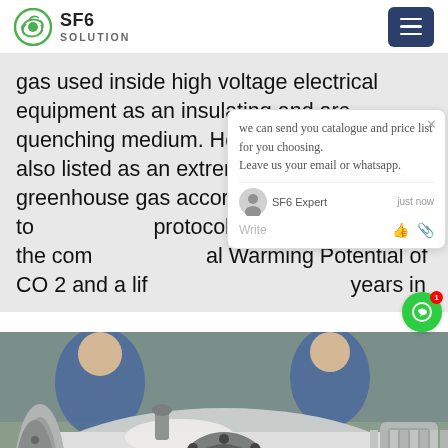SF6 SOLUTION
gas used inside high voltage electrical equipment as an insulating and arc-quenching medium. However, SF 6 SF6 is also listed as an extremely potent greenhouse gas according to protocol, with 23,500 times the comparable Global Warming Potential of CO 2 and a lifetime of years in
[Figure (screenshot): Chat popup overlay with message: we can send you catalogue and price list for you choosing. Leave us your email or whatsapp. SF6 Expert just now. Write input area.]
[Figure (photo): Large industrial SF6 electrical equipment component (gas-insulated switchgear or transformer bushing) lying on the ground outdoors, metallic cylindrical housing with flanges, workers in blue uniforms in background.]